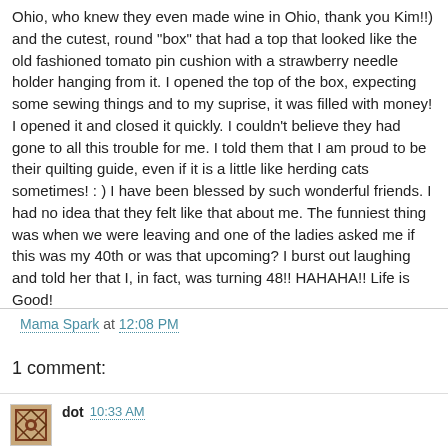Ohio, who knew they even made wine in Ohio, thank you Kim!!) and the cutest, round "box" that had a top that looked like the old fashioned tomato pin cushion with a strawberry needle holder hanging from it. I opened the top of the box, expecting some sewing things and to my suprise, it was filled with money! I opened it and closed it quickly. I couldn't believe they had gone to all this trouble for me. I told them that I am proud to be their quilting guide, even if it is a little like herding cats sometimes! : ) I have been blessed by such wonderful friends. I had no idea that they felt like that about me. The funniest thing was when we were leaving and one of the ladies asked me if this was my 40th or was that upcoming? I burst out laughing and told her that I, in fact, was turning 48!! HAHAHA!! Life is Good!
Mama Spark at 12:08 PM
1 comment:
dot 10:33 AM